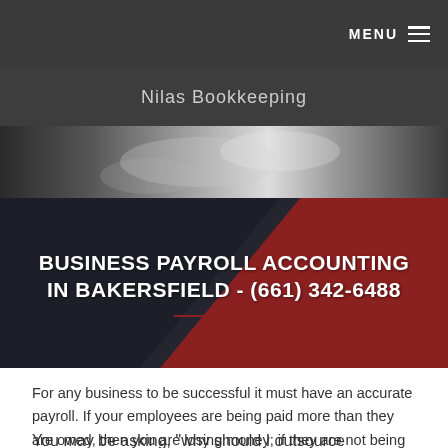MENU ☰
Nilas Bookkeeping
[Figure (photo): Blurred black and white photo background, appears to show hands or office setting]
BUSINESS PAYROLL ACCOUNTING IN BAKERSFIELD - (661) 342-6488
For any business to be successful it must have an accurate payroll. If your employees are being paid more than they are owed, then you are losing money; if they are not being paid enough, then they are not receiving what they deserve.
You may be asking, "why should I outsource